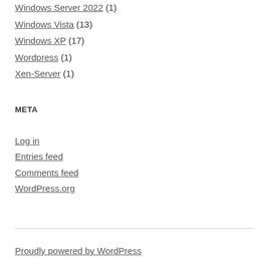Windows Server 2022 (1)
Windows Vista (13)
Windows XP (17)
Wordpress (1)
Xen-Server (1)
META
Log in
Entries feed
Comments feed
WordPress.org
Proudly powered by WordPress